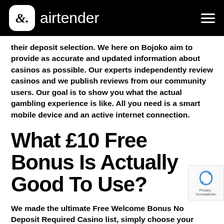airtender
their deposit selection. We here on Bojoko aim to provide as accurate and updated information about casinos as possible. Our experts independently review casinos and we publish reviews from our community users. Our goal is to show you what the actual gambling experience is like. All you need is a smart mobile device and an active internet connection.
What £10 Free Bonus Is Actually Good To Use?
We made the ultimate Free Welcome Bonus No Deposit Required Casino list, simply choose your